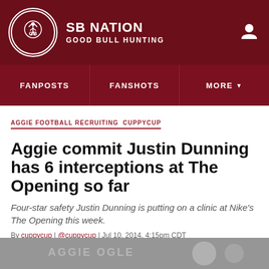SB NATION / GOOD BULL HUNTING
FANPOSTS  FANSHOTS  MORE
AGGIE FOOTBALL RECRUITING  CUPPYCUP
Aggie commit Justin Dunning has 6 interceptions at The Opening so far
Four-star safety Justin Dunning is putting on a clinic at Nike's The Opening this week.
By cuppycup | @cuppycup | Jul 10, 2014, 4:15pm CDT
[Figure (screenshot): Social share bar with Facebook, Twitter, and Share buttons]
[Figure (photo): Partial photo at bottom of page showing blurred background image]